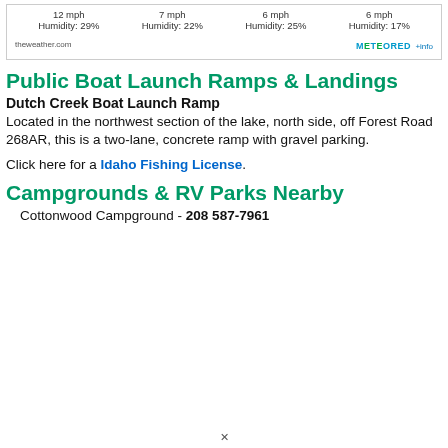[Figure (other): Weather widget showing wind speed and humidity for four columns, with theweather.com and METEORED +info attribution]
Public Boat Launch Ramps & Landings
Dutch Creek Boat Launch Ramp
Located in the northwest section of the lake, north side, off Forest Road 268AR, this is a two-lane, concrete ramp with gravel parking.
Click here for a Idaho Fishing License.
Campgrounds & RV Parks Nearby
Cottonwood Campground - 208 587-7961